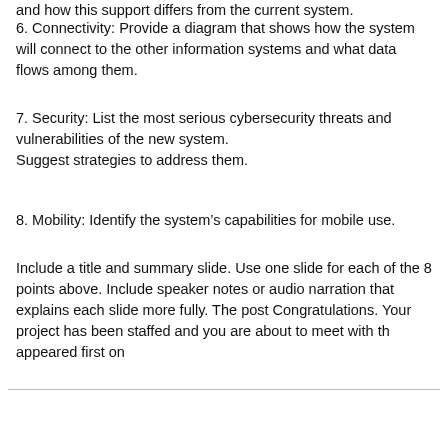and how this support differs from the current system.
6. Connectivity: Provide a diagram that shows how the system will connect to the other information systems and what data flows among them.
7. Security: List the most serious cybersecurity threats and vulnerabilities of the new system. Suggest strategies to address them.
8. Mobility: Identify the system’s capabilities for mobile use.
Include a title and summary slide. Use one slide for each of the 8 points above. Include speaker notes or audio narration that explains each slide more fully. The post Congratulations. Your project has been staffed and you are about to meet with th appeared first on